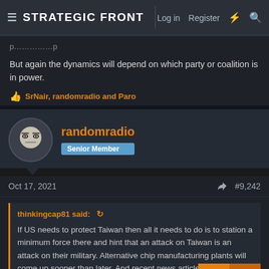STRATEGIC FRONT — Log in | Register
But again the dynamics will depend on which party or coalition is in power.
👍 SrNair, randomradio and Paro
randomradio — Senior Member
Oct 17, 2021  #9,242
thinkingcap81 said: If US needs to protect Taiwan then all it needs to do is to station a minimum force there and hint that an attack on Taiwan is an attack on their military. Alternative chip manufacturing plants will come up sooner than later. And recent news articles indicate that Taiwanese aren't much bothered about any invasion from China -